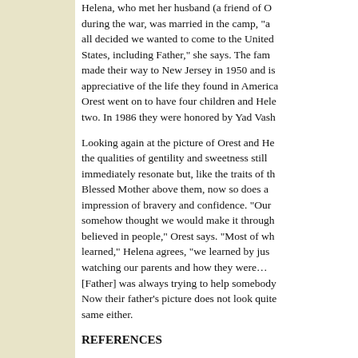Helena, who met her husband (a friend of Orest) during the war, was married in the camp, "all decided we wanted to come to the United States, including Father," she says. The family made their way to New Jersey in 1950 and is appreciative of the life they found in America. Orest went on to have four children and Helena two. In 1986 they were honored by Yad Vash
Looking again at the picture of Orest and Helena, the qualities of gentility and sweetness still immediately resonate but, like the traits of the Blessed Mother above them, now so does a impression of bravery and confidence. "Our somehow thought we would make it through believed in people," Orest says. "Most of wh learned," Helena agrees, "we learned by jus watching our parents and how they were… [Father] was always trying to help somebody. Now their father's picture does not look quite same either.
REFERENCES
Block, Gay, Malka Drucker, and Cynthia Ozick. Rescuers: Portraits of Moral